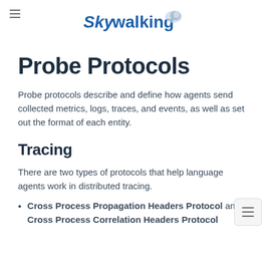Skywalking
Probe Protocols
Probe protocols describe and define how agents send collected metrics, logs, traces, and events, as well as set out the format of each entity.
Tracing
There are two types of protocols that help language agents work in distributed tracing.
Cross Process Propagation Headers Protocol and Cross Process Correlation Headers Protocol